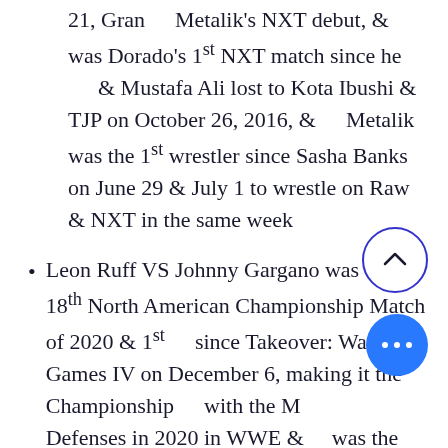21, Gran Metalik's NXT debut, & was Dorado's 1st NXT match since he & Mustafa Ali lost to Kota Ibushi & TJP on October 26, 2016, & Metalik was the 1st wrestler since Sasha Banks on June 29 & July 1 to wrestle on Raw & NXT in the same week
Leon Ruff VS Johnny Gargano was the 18th North American Championship Match of 2020 & 1st since Takeover: War Games IV on December 6, making it the Championship with the M Defenses in 2020 in WWE & was the 1st time in his career that Ruff wrestled 3 weeks in a row on NXT & was his 1st match of 2020. Gargano's 1st NXT...